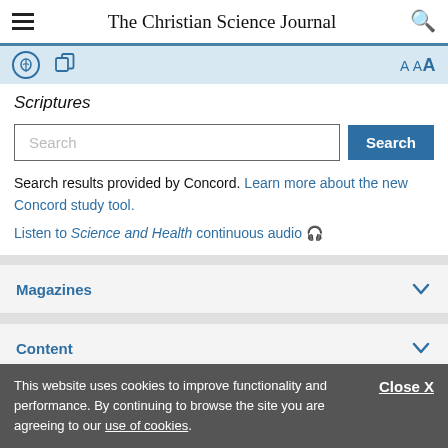The Christian Science Journal
Scriptures
Search
Search results provided by Concord. Learn more about the new Concord study tool.
Listen to Science and Health continuous audio
Magazines
Content
This website uses cookies to improve functionality and performance. By continuing to browse the site you are agreeing to our use of cookies.